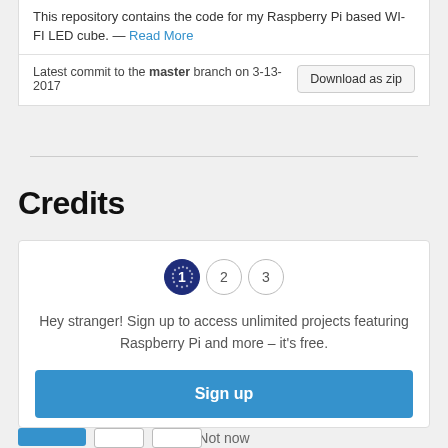This repository contains the code for my Raspberry Pi based WI-FI LED cube. — Read More
Latest commit to the master branch on 3-13-2017
Download as zip
Credits
Hey stranger! Sign up to access unlimited projects featuring Raspberry Pi and more – it's free.
Sign up
Not now